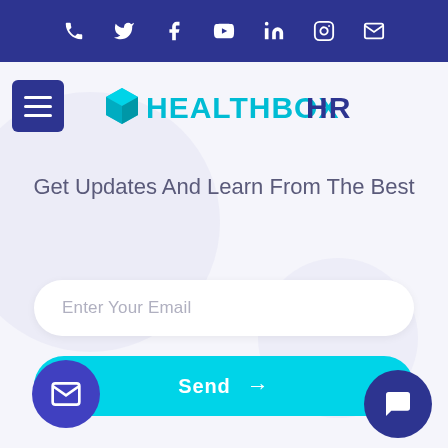Social icons bar: phone, Twitter, Facebook, YouTube, LinkedIn, Instagram, email
[Figure (logo): HealthBoxHR logo with teal cube icon and text HEALTHBOXHR]
Get Updates And Learn From The Best
Enter Your Email
Send →